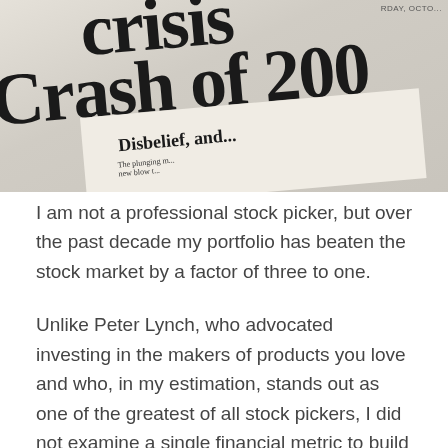[Figure (photo): Newspaper photograph showing large bold headlines reading 'crisis' and 'Crash of 200...' with a smaller sub-article headline 'Disbelief, and...' visible, newspaper pages shown at an angle]
I am not a professional stock picker, but over the past decade my portfolio has beaten the stock market by a factor of three to one.
Unlike Peter Lynch, who advocated investing in the makers of products you love and who, in my estimation, stands out as one of the greatest of all stock pickers, I did not examine a single financial metric to build my portfolio. Instead, I simply ranked competitors in each industry based on customer love and then bet on the winner.